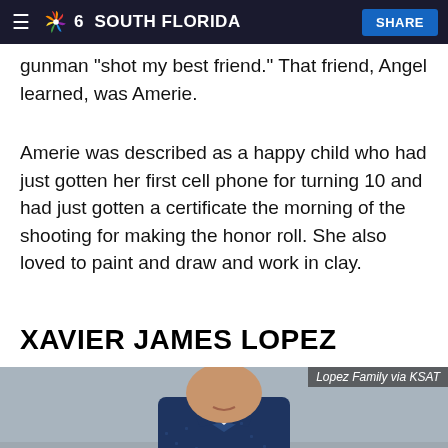NBC 6 South Florida | SHARE
through a survived, and thought the gunman "shot my best friend." That friend, Angel learned, was Amerie.
Amerie was described as a happy child who had just gotten her first cell phone for turning 10 and had just gotten a certificate the morning of the shooting for making the honor roll. She also loved to paint and draw and work in clay.
XAVIER JAMES LOPEZ
[Figure (photo): Photo of Xavier James Lopez, a young boy wearing a dark navy patterned button-up shirt, photographed outdoors. Credit: Lopez Family via KSAT]